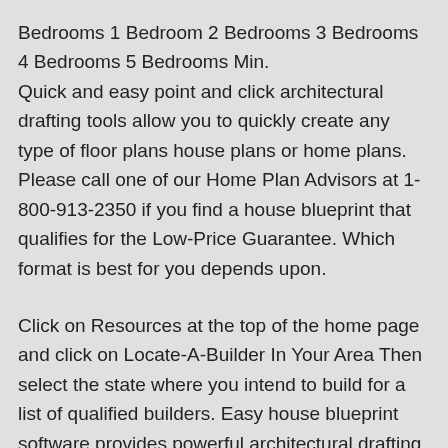Bedrooms 1 Bedroom 2 Bedrooms 3 Bedrooms 4 Bedrooms 5 Bedrooms Min.
Quick and easy point and click architectural drafting tools allow you to quickly create any type of floor plans house plans or home plans. Please call one of our Home Plan Advisors at 1-800-913-2350 if you find a house blueprint that qualifies for the Low-Price Guarantee. Which format is best for you depends upon.
Click on Resources at the top of the home page and click on Locate-A-Builder In Your Area Then select the state where you intend to build for a list of qualified builders. Easy house blueprint software provides powerful architectural drafting tools. Whether its a small home plan modification request like adding a room increasing the